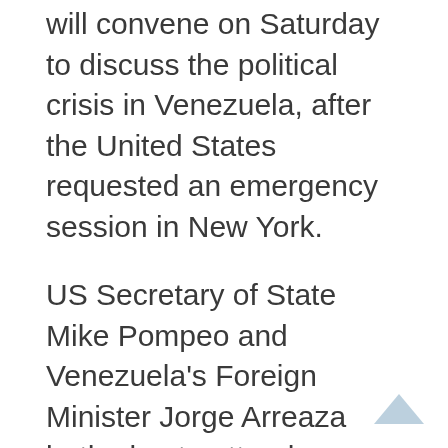will convene on Saturday to discuss the political crisis in Venezuela, after the United States requested an emergency session in New York.
US Secretary of State Mike Pompeo and Venezuela's Foreign Minister Jorge Arreaza both plan to attend.
Pompeo said on Friday he would urge other countries to support Juan Guaido, who declared himself Venezuela's interim president on Wednesday as Venezuelans took to the streets to demand the resignation of President Nicolas Maduro.